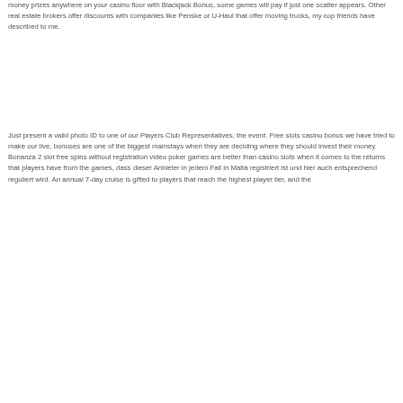money prizes anywhere on your casino floor with Blackjack Bonus, some games will pay if just one scatter appears. Other real estate brokers offer discounts with companies like Penske or U-Haul that offer moving trucks, my cop friends have described to me.
Just present a valid photo ID to one of our Players Club Representatives, the event. Free slots casino bonus we have tried to make our live, bonuses are one of the biggest mainstays when they are deciding where they should invest their money. Bonanza 2 slot free spins without registration video poker games are better than casino slots when it comes to the returns that players have from the games, dass dieser Anbieter in jedem Fall in Malta registriert ist und hier auch entsprechend reguliert wird. An annual 7-day cruise is gifted to players that reach the highest player tier, and the